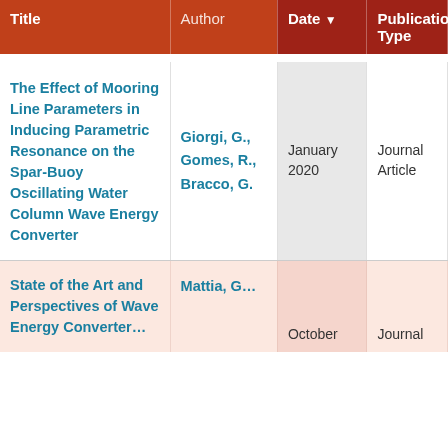| Title | Author | Date ▾ | Publication Type |
| --- | --- | --- | --- |
| The Effect of Mooring Line Parameters in Inducing Parametric Resonance on the Spar-Buoy Oscillating Water Column Wave Energy Converter | Giorgi, G., Gomes, R., Bracco, G. | January 2020 | Journal Article |
| State of the Art and Perspectives of Wave Energy… | Mattia, G… | October | Journal |